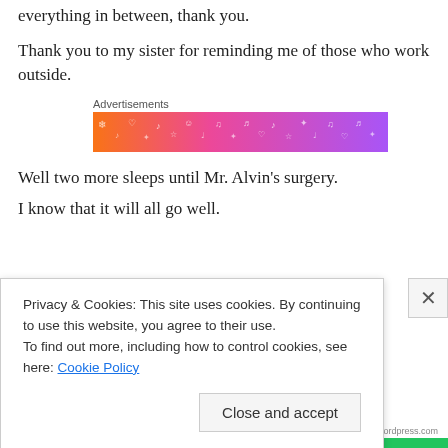everything in between, thank you.
Thank you to my sister for reminding me of those who work outside.
[Figure (other): Advertisement banner with colorful gradient (orange to purple) and decorative icons/symbols pattern. Labeled 'Advertisements' above.]
Well two more sleeps until Mr. Alvin’s surgery.
I know that it will all go well.
Privacy & Cookies: This site uses cookies. By continuing to use this website, you agree to their use.
To find out more, including how to control cookies, see here: Cookie Policy